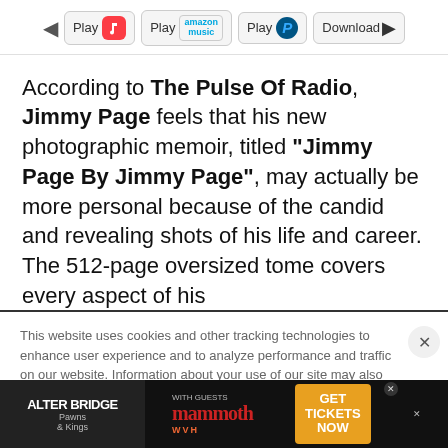[Figure (screenshot): Navigation bar with back arrow, Play buttons for Apple Music, Amazon Music, Pandora, and a Download button]
According to The Pulse Of Radio, Jimmy Page feels that his new photographic memoir, titled "Jimmy Page By Jimmy Page", may actually be more personal because of the candid and revealing shots of his life and career. The 512-page oversized tome covers every aspect of his
This website uses cookies and other tracking technologies to enhance user experience and to analyze performance and traffic on our website. Information about your use of our site may also be shared with social media, advertising, retail and analytics providers and partners. Privacy Policy
[Figure (screenshot): Alter Bridge advertisement banner promoting Pawns & Kings album with Mammoth WVH as guests, Get Tickets Now call to action]